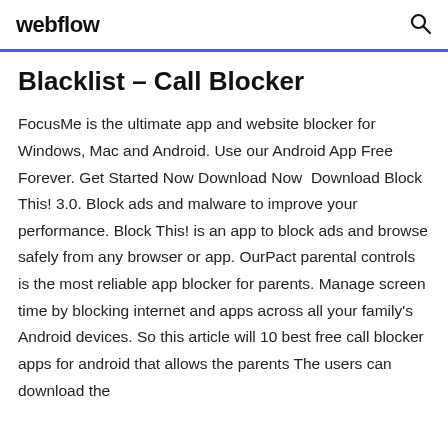webflow
Blacklist – Call Blocker
FocusMe is the ultimate app and website blocker for Windows, Mac and Android. Use our Android App Free Forever. Get Started Now Download Now  Download Block This! 3.0. Block ads and malware to improve your performance. Block This! is an app to block ads and browse safely from any browser or app. OurPact parental controls is the most reliable app blocker for parents. Manage screen time by blocking internet and apps across all your family's Android devices. So this article will 10 best free call blocker apps for android that allows the parents The users can download the